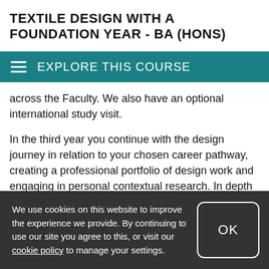TEXTILE DESIGN WITH A FOUNDATION YEAR - BA (HONS)
EXPLORE THIS COURSE
across the Faculty. We also have an optional international study visit.
In the third year you continue with the design journey in relation to your chosen career pathway, creating a professional portfolio of design work and engaging in personal contextual research. In depth academic research and practical modules enable you to test and resolve
We use cookies on this website to improve the experience we provide. By continuing to use our site you agree to this, or visit our cookie policy to manage your settings.